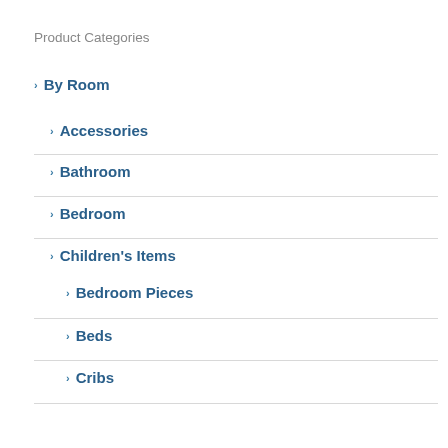Product Categories
By Room
Accessories
Bathroom
Bedroom
Children's Items
Bedroom Pieces
Beds
Cribs